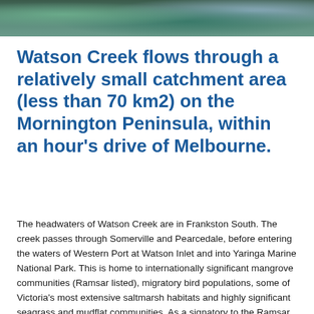[Figure (photo): Aerial or landscape photo of Watson Creek / wetland area with green vegetation and blue water visible at the top of the page]
Watson Creek flows through a relatively small catchment area (less than 70 km2) on the Mornington Peninsula, within an hour's drive of Melbourne.
The headwaters of Watson Creek are in Frankston South. The creek passes through Somerville and Pearcedale, before entering the waters of Western Port at Watson Inlet and into Yaringa Marine National Park. This is home to internationally significant mangrove communities (Ramsar listed), migratory bird populations, some of Victoria's most extensive saltmarsh habitats and highly significant seagrass and mudflat communities. As a signatory to the Ramsar Convention of 1972, Australia has international obligations to conserve and protect the